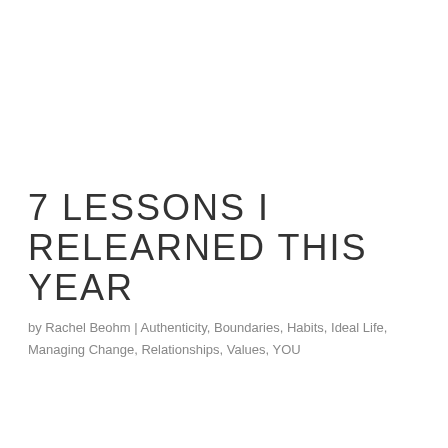7 LESSONS I RELEARNED THIS YEAR
by Rachel Beohm | Authenticity, Boundaries, Habits, Ideal Life, Managing Change, Relationships, Values, YOU